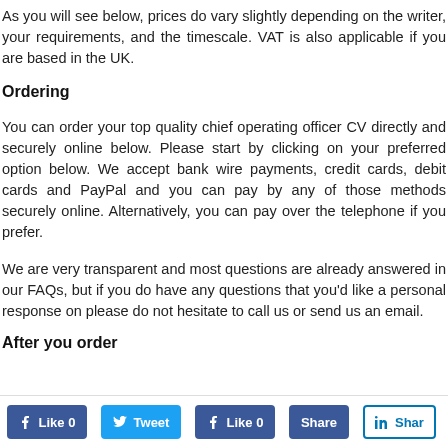As you will see below, prices do vary slightly depending on the writer, your requirements, and the timescale. VAT is also applicable if you are based in the UK.
Ordering
You can order your top quality chief operating officer CV directly and securely online below. Please start by clicking on your preferred option below. We accept bank wire payments, credit cards, debit cards and PayPal and you can pay by any of those methods securely online. Alternatively, you can pay over the telephone if you prefer.
We are very transparent and most questions are already answered in our FAQs, but if you do have any questions that you'd like a personal response on please do not hesitate to call us or send us an email.
After you order